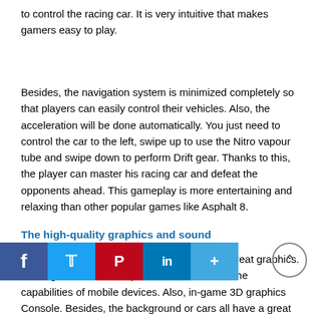to control the racing car. It is very intuitive that makes gamers easy to play.
Besides, the navigation system is minimized completely so that players can easily control their vehicles. Also, the acceleration will be done automatically. You just need to control the car to the left, swipe up to use the Nitro vapour tube and swipe down to perform Drift gear. Thanks to this, the player can master his racing car and defeat the opponents ahead. This gameplay is more entertaining and relaxing than other popular games like Asphalt 8.
The high-quality graphics and sound
Moreover, Need for Speed: No Limits shows great graphics. In the game, the developer made the most of the capabilities of mobile devices. Also, in-game 3D graphics Console. Besides, the background or cars all have a great investment. The player